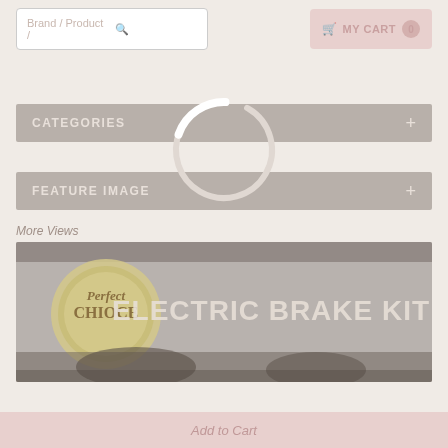[Figure (screenshot): Website header with search bar on left showing 'Brand / Product /' placeholder and a search icon button, and a MY CART button with 0 items on the right]
[Figure (other): Loading spinner (circular spinner overlay) in the center of the page]
CATEGORIES +
FEATURE IMAGE +
More Views
[Figure (photo): Product promotional image for 'Electric Brake Kit' showing a 'Perfect Choice' badge seal on the left and bold text 'ELECTRIC BRAKE KIT' on the right, with brake components visible in the lower portion]
Add to Cart